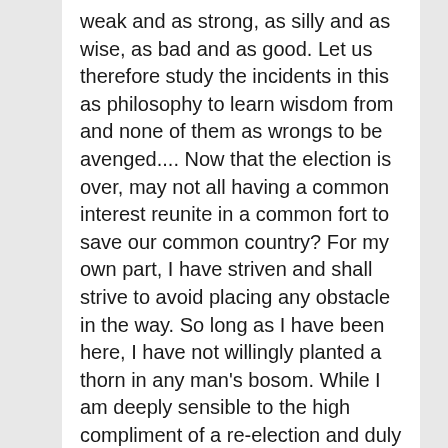weak and as strong, as silly and as wise, as bad and as good. Let us therefore study the incidents in this as philosophy to learn wisdom from and none of them as wrongs to be avenged.... Now that the election is over, may not all having a common interest reunite in a common fort to save our common country? For my own part, I have striven and shall strive to avoid placing any obstacle in the way. So long as I have been here, I have not willingly planted a thorn in any man's bosom. While I am deeply sensible to the high compliment of a re-election and duly grateful, as I trust, to Almighty God for having directed my countrymen to a right conclusion, as I think for their own good, it adds nothing to my satisfaction that any other man may be